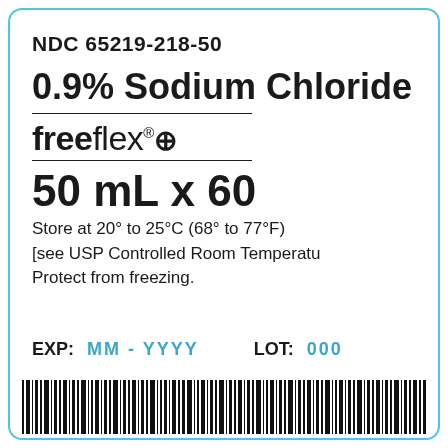NDC 65219-218-50
0.9% Sodium Chloride Injection
[Figure (logo): freeflex+ brand logo with registered trademark symbol, underlined with two horizontal rules]
50 mL x 60
Store at 20° to 25°C (68° to 77°F) [see USP Controlled Room Temperature]. Protect from freezing.
EXP:  MM-YYYY     LOT:  000
[Figure (other): Barcode at the bottom of the label]